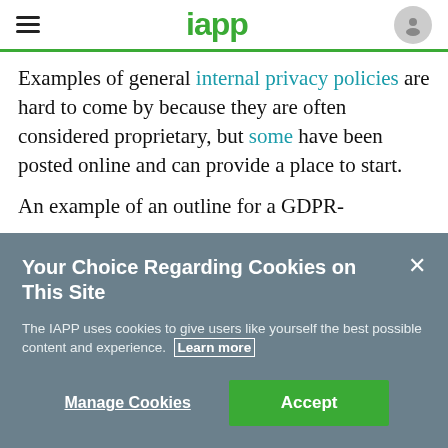iapp
Examples of general internal privacy policies are hard to come by because they are often considered proprietary, but some have been posted online and can provide a place to start.
An example of an outline for a GDPR-
Your Choice Regarding Cookies on This Site
The IAPP uses cookies to give users like yourself the best possible content and experience. Learn more
Manage Cookies   Accept